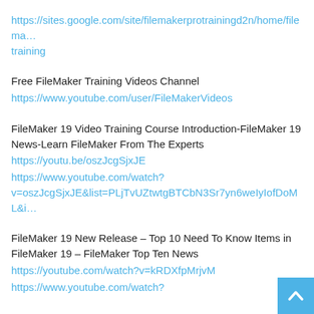https://sites.google.com/site/filemakerprotrainingd2n/home/filema… training
Free FileMaker Training Videos Channel
https://www.youtube.com/user/FileMakerVideos
FileMaker 19 Video Training Course Introduction-FileMaker 19 News-Learn FileMaker From The Experts
https://youtu.be/oszJcgSjxJE
https://www.youtube.com/watch?v=oszJcgSjxJE&list=PLjTvUZtwtgBTCbN3Sr7yn6weIyIofDoML&i…
FileMaker 19 New Release – Top 10 Need To Know Items in FileMaker 19 – FileMaker Top Ten News
https://youtube.com/watch?v=kRDXfpMrjvM
https://www.youtube.com/watch?